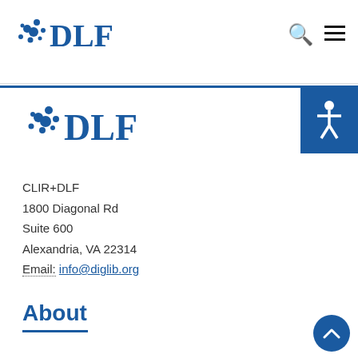[Figure (logo): DLF logo with blue dot pattern and letters DLF in top navigation bar]
[Figure (logo): DLF logo with blue dot pattern and letters DLF in main content area]
CLIR+DLF
1800 Diagonal Rd
Suite 600
Alexandria, VA 22314
Email: info@diglib.org
About